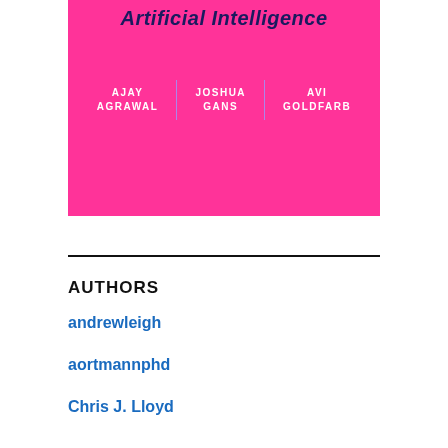[Figure (illustration): Book cover with hot pink background showing title 'Artificial Intelligence' in dark navy bold italic text, with three author names separated by vertical purple dividers: AJAY AGRAWAL | JOSHUA GANS | AVI GOLDFARB in white uppercase letters]
AUTHORS
andrewleigh
aortmannphd
Chris J. Lloyd